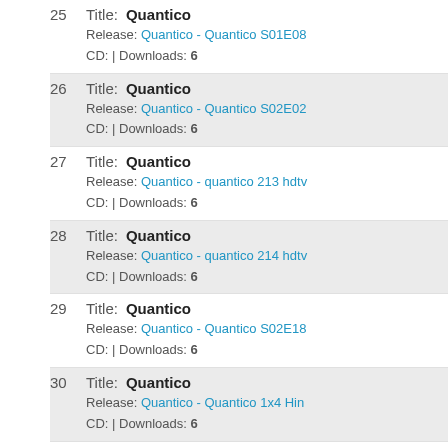25 Title: Quantico | Release: Quantico - Quantico S01E08 | CD: | Downloads: 6
26 Title: Quantico | Release: Quantico - Quantico S02E02 | CD: | Downloads: 6
27 Title: Quantico | Release: Quantico - quantico 213 hdtv | CD: | Downloads: 6
28 Title: Quantico | Release: Quantico - quantico 214 hdtv | CD: | Downloads: 6
29 Title: Quantico | Release: Quantico - Quantico S02E18 | CD: | Downloads: 6
30 Title: Quantico | Release: Quantico - Quantico 1x4 Hin | CD: | Downloads: 6
31 Title: Quantico